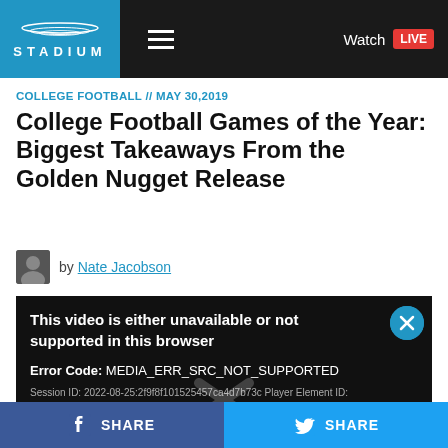STADIUM | Watch LIVE
COLLEGE FOOTBALL // MAY 30,2019
College Football Games of the Year: Biggest Takeaways From the Golden Nugget Release
by Nate Jacobson
[Figure (screenshot): Video player error screen on dark background showing: 'This video is either unavailable or not supported in this browser' with Error Code: MEDIA_ERR_SRC_NOT_SUPPORTED and Session ID: 2022-08-25:2f9f8f101525457ca4d7b73c Player Element ID: brightcove_video_player]
SHARE (Facebook) | SHARE (Twitter)